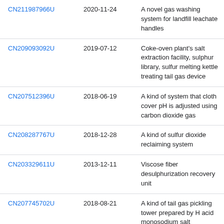| CN211987966U | 2020-11-24 | A novel gas washing system for landfill leachate handles |
| CN209093092U | 2019-07-12 | Coke-oven plant&#39;s salt extraction facility, sulphur library, sulfur melting kettle treating tail gas device |
| CN207512396U | 2018-06-19 | A kind of system that cloth cover pH is adjusted using carbon dioxide gas |
| CN208287767U | 2018-12-28 | A kind of sulfur dioxide reclaiming system |
| CN203329611U | 2013-12-11 | Viscose fiber desulphurization recovery unit |
| CN207745702U | 2018-08-21 | A kind of tail gas pickling tower prepared by H acid monosodium salt |
| CN206463762U | 2017-09-05 | A kind of flue gas |